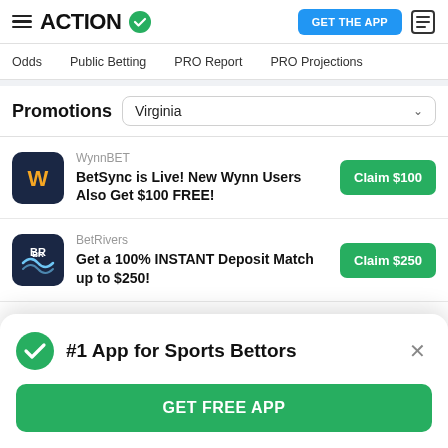ACTION — GET THE APP
Odds | Public Betting | PRO Report | PRO Projections
Promotions — Virginia
WynnBET — BetSync is Live! New Wynn Users Also Get $100 FREE! — Claim $100
BetRivers — Get a 100% INSTANT Deposit Match up to $250! — Claim $250
Caesars
#1 App for Sports Bettors — GET FREE APP